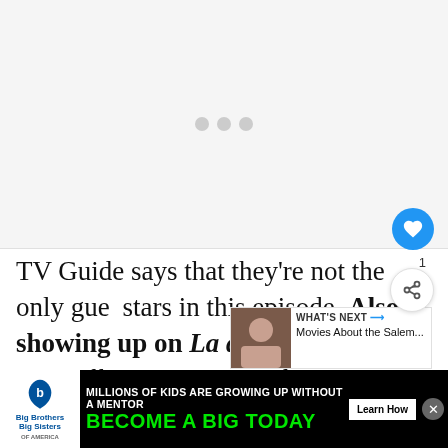[Figure (photo): Image placeholder with loading dots on light gray background]
TV Guide says that they're not the only guest stars in this episode. Also showing up on Law and Order: SVU are Dallas' Emma Bell as Catherine's sister Rose, who is now Frank's fianc... (text continues), Carry
[Figure (photo): What's Next thumbnail - Movies About the Salem...]
[Figure (other): Advertisement banner: Big Brothers Big Sisters - MILLIONS OF KIDS ARE GROWING UP WITHOUT A MENTOR. BECOME A BIG TODAY. Learn How]